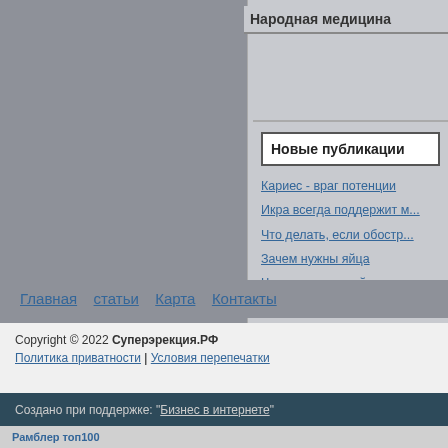Народная медицина
Новые публикации
Кариес - враг потенции
Икра всегда поддержит м...
Что делать, если обостр...
Зачем нужны яйца
Чесночная настойка для...
Утренняя гимнастика для...
Баланит? Срочно к докто...
Три цвета семени
Главная  статьи  Карта  Контакты
Copyright © 2022 Суперэрекция.РФ
Политика приватности | Условия перепечатки
Создано при поддержке: "Бизнес в интернете"
Рамблер топ100